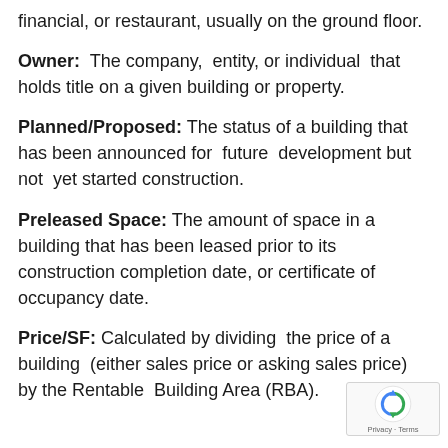financial, or restaurant, usually on the ground floor.
Owner: The company, entity, or individual that holds title on a given building or property.
Planned/Proposed: The status of a building that has been announced for future development but not yet started construction.
Preleased Space: The amount of space in a building that has been leased prior to its construction completion date, or certificate of occupancy date.
Price/SF: Calculated by dividing the price of a building (either sales price or asking sales price) by the Rentable Building Area (RBA).